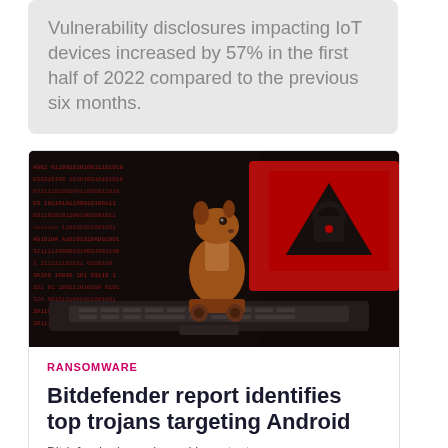Vulnerability disclosures impacting IoT devices increased by 57% in the first half of 2022 compared to the previous six months.
[Figure (photo): A wooden Trojan horse chess piece sitting on a laptop keyboard in front of a red screen with binary code, representing malware or ransomware threat.]
RANSOMWARE
Bitdefender report identifies top trojans targeting Android
Bitdefender has released important